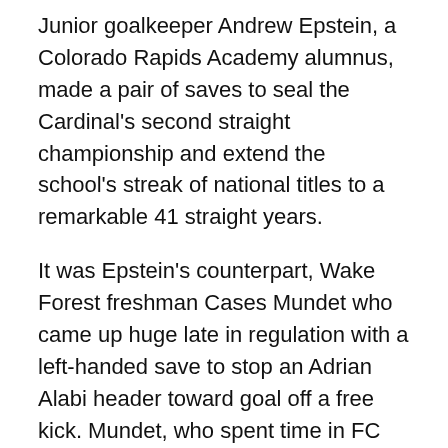Junior goalkeeper Andrew Epstein, a Colorado Rapids Academy alumnus, made a pair of saves to seal the Cardinal's second straight championship and extend the school's streak of national titles to a remarkable 41 straight years.
It was Epstein's counterpart, Wake Forest freshman Cases Mundet who came up huge late in regulation with a left-handed save to stop an Adrian Alabi header toward goal off a free kick. Mundet, who spent time in FC Barcelona's youth system, made five saves in the game filling in for the injured Alec Ferrell, a first-team All-American.
While Stanford came the closest to scoring - so close on one play video assistance had to be used for the first time in a final - the Demon Deacons had its